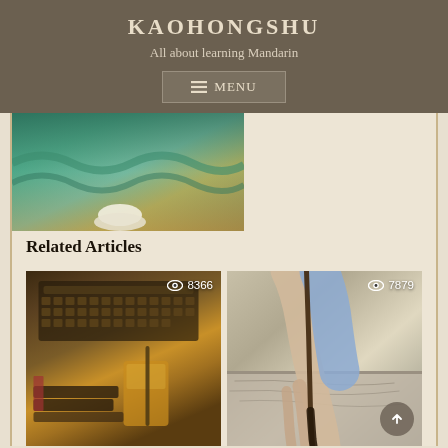KAOHONGSHU
All about learning Mandarin
≡ MENU
[Figure (photo): Partial view of a colorful decorative sculpture or painting with teal, green, and gold tones, with a white rounded shape visible at the bottom]
Related Articles
[Figure (photo): Photo of a vintage typewriter with a glass of milk tea with boba straw, books in the background, warm sepia tones. View count: 8366]
[Figure (photo): Close-up photo of an elderly person's hand holding a calligraphy brush over a stone surface. View count: 7879]